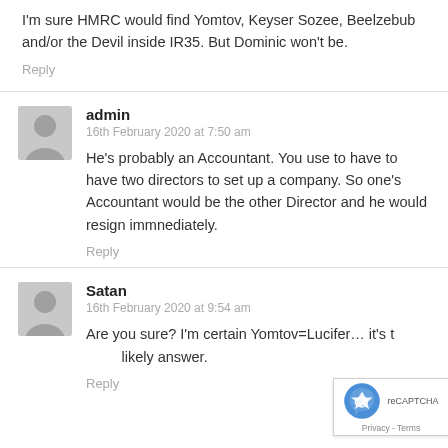I'm sure HMRC would find Yomtov, Keyser Sozee, Beelzebub and/or the Devil inside IR35. But Dominic won't be.
Reply
admin
16th February 2020 at 7:50 am
He's probably an Accountant. You use to have to have two directors to set up a company. So one's Accountant would be the other Director and he would resign immnediately.
Reply
Satan
16th February 2020 at 9:54 am
Are you sure? I'm certain Yomtov=Lucifer… it's the most likely answer.
Reply